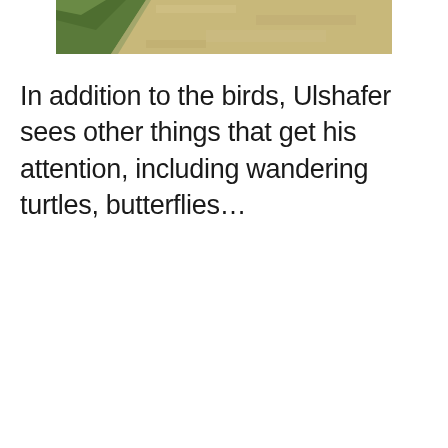[Figure (photo): Partial view of a dirt/sandy path with green grass along the left edge, cropped at top of page]
In addition to the birds, Ulshafer sees other things that get his attention, including wandering turtles, butterflies...